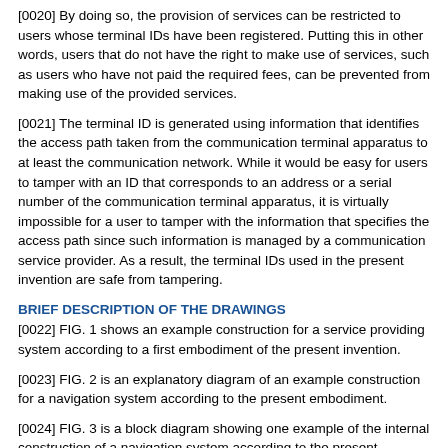[0020] By doing so, the provision of services can be restricted to users whose terminal IDs have been registered. Putting this in other words, users that do not have the right to make use of services, such as users who have not paid the required fees, can be prevented from making use of the provided services.
[0021] The terminal ID is generated using information that identifies the access path taken from the communication terminal apparatus to at least the communication network. While it would be easy for users to tamper with an ID that corresponds to an address or a serial number of the communication terminal apparatus, it is virtually impossible for a user to tamper with the information that specifies the access path since such information is managed by a communication service provider. As a result, the terminal IDs used in the present invention are safe from tampering.
BRIEF DESCRIPTION OF THE DRAWINGS
[0022] FIG. 1 shows an example construction for a service providing system according to a first embodiment of the present invention.
[0023] FIG. 2 is an explanatory diagram of an example construction for a navigation system according to the present embodiment.
[0024] FIG. 3 is a block diagram showing one example of the internal construction of a navigation system according to the present embodiment.
[0025] FIG. 4 is a block diagram showing one example of the internal